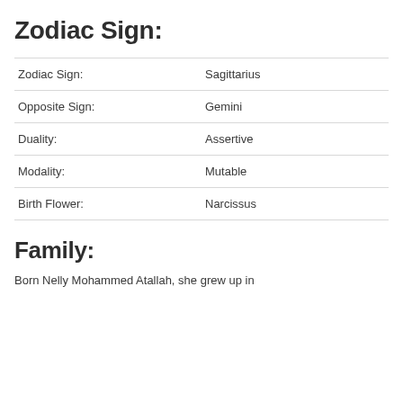Zodiac Sign:
| Zodiac Sign: | Sagittarius |
| Opposite Sign: | Gemini |
| Duality: | Assertive |
| Modality: | Mutable |
| Birth Flower: | Narcissus |
Family:
Born Nelly Mohammed Atallah, she grew up in